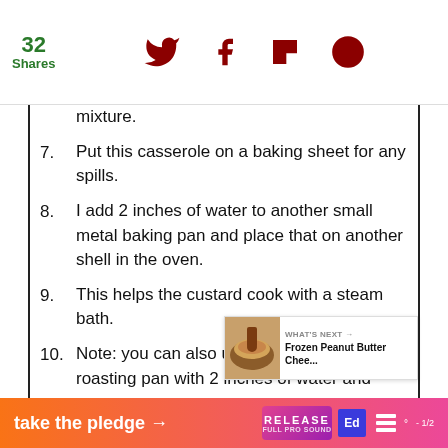32 Shares | Social share icons (Twitter, Facebook, Flipboard, other)
mixture.
7. Put this casserole on a baking sheet for any spills.
8. I add 2 inches of water to another small metal baking pan and place that on another shell in the oven.
9. This helps the custard cook with a steam bath.
10. Note: you can also use a big Tu... roasting pan with 2 inches of water and ...
take the pledge → RELEASE Ed